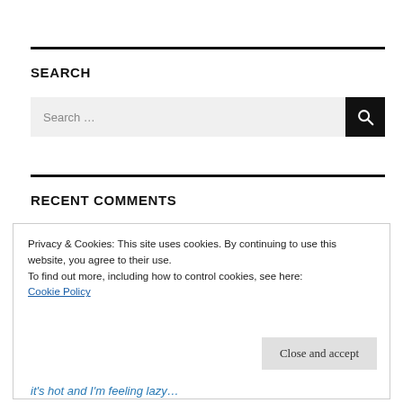SEARCH
Search …
RECENT COMMENTS
Privacy & Cookies: This site uses cookies. By continuing to use this website, you agree to their use.
To find out more, including how to control cookies, see here:
Cookie Policy
Close and accept
it's hot and I'm feeling lazy…